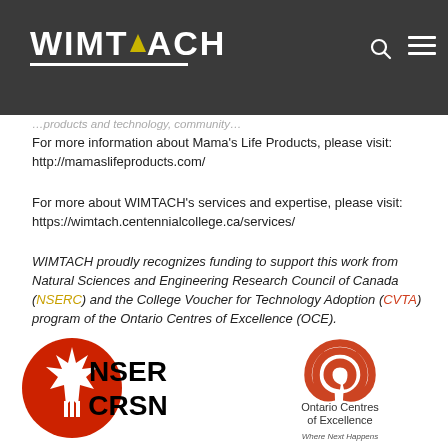WIMTACH
For more information about Mama’s Life Products, please visit: http://mamaslifeproducts.com/
For more about WIMTACH’s services and expertise, please visit: https://wimtach.centennialcollege.ca/services/
WIMTACH proudly recognizes funding to support this work from Natural Sciences and Engineering Research Council of Canada (NSERC) and the College Voucher for Technology Adoption (CVTA) program of the Ontario Centres of Excellence (OCE).
[Figure (logo): NSERC/CRSN logo with red maple leaf circle and bold black text NSER CRSN]
[Figure (logo): Ontario Centres of Excellence logo with orange swirl icon and text 'Ontario Centres of Excellence - Where Next Happens']